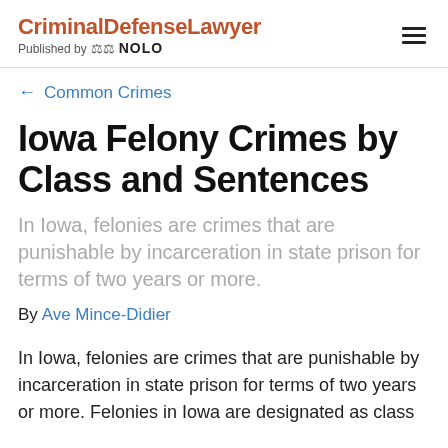CriminalDefenseLawyer Published by NOLO
← Common Crimes
Iowa Felony Crimes by Class and Sentences
In Iowa, felonies are crimes that are punishable by incarceration in state prison for terms of two years or more.
By Ave Mince-Didier
In Iowa, felonies are crimes that are punishable by incarceration in state prison for terms of two years or more. Felonies in Iowa are designated as class